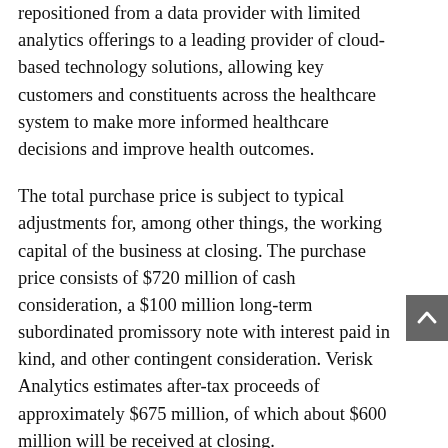repositioned from a data provider with limited analytics offerings to a leading provider of cloud-based technology solutions, allowing key customers and constituents across the healthcare system to make more informed healthcare decisions and improve health outcomes.
The total purchase price is subject to typical adjustments for, among other things, the working capital of the business at closing. The purchase price consists of $720 million of cash consideration, a $100 million long-term subordinated promissory note with interest paid in kind, and other contingent consideration. Verisk Analytics estimates after-tax proceeds of approximately $675 million, of which about $600 million will be received at closing.
Grow Model Page Reference